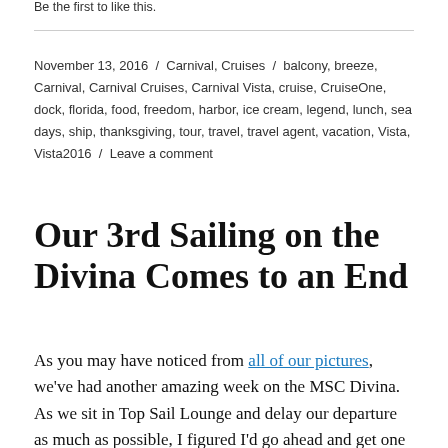Be the first to like this.
November 13, 2016 / Carnival, Cruises / balcony, breeze, Carnival, Carnival Cruises, Carnival Vista, cruise, CruiseOne, dock, florida, food, freedom, harbor, ice cream, legend, lunch, sea days, ship, thanksgiving, tour, travel, travel agent, vacation, Vista, Vista2016 / Leave a comment
Our 3rd Sailing on the Divina Comes to an End
As you may have noticed from all of our pictures, we've had another amazing week on the MSC Divina. As we sit in Top Sail Lounge and delay our departure as much as possible, I figured I'd go ahead and get one more post